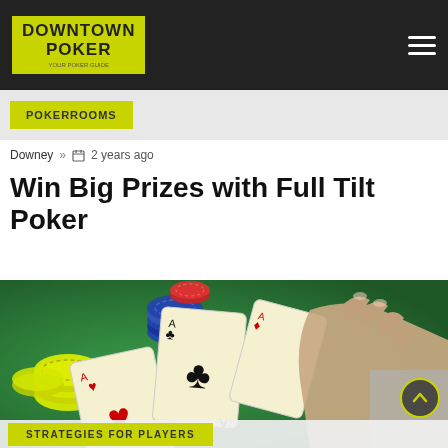DOWNTOWN POKER
POKERROOMS
Downey » 2 years ago
Win Big Prizes with Full Tilt Poker
[Figure (photo): Poker table with playing cards showing aces and a hand reaching for cards, with poker chips (yellow/green and blue) on a green felt table]
STRATEGIES FOR PLAYERS